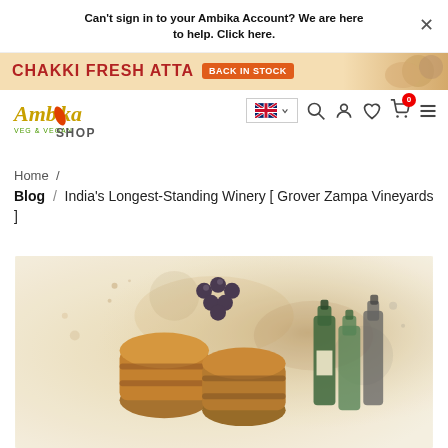Can't sign in to your Ambika Account? We are here to help. Click here.
[Figure (other): Chakki Fresh Atta promotional banner with Back In Stock badge]
[Figure (logo): Ambika Shop logo - VEG & VEGAN]
[Figure (other): Navigation bar with UK flag language selector, search, account, wishlist, cart (0 items), and menu icons]
Home /
Blog / India's Longest-Standing Winery [ Grover Zampa Vineyards ]
[Figure (illustration): Watercolor illustration of wine barrels and bottles in earthy tones]